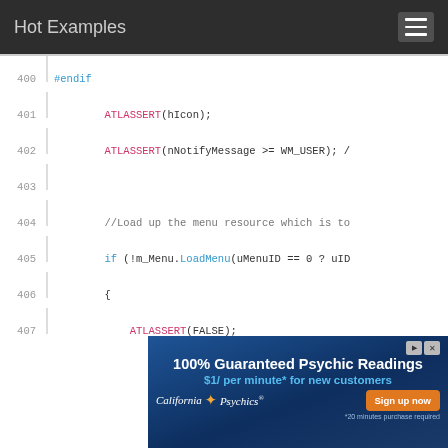Hot Examples
[Figure (screenshot): Source code viewer showing C++ code lines 400-413 with syntax highlighting. Line 400: #endif, Line 401: ATLASSERT(hIcon);, Line 402: ATLASSERT(nNotifyMessage >= WM_USER); /, Line 403: (blank), Line 404: //Load up the menu resource which is to, Line 405: if (!m_Menu.LoadMenu(uMenuID == 0 ? uID, Line 406: {, Line 407: ATLASSERT(FALSE);, Line 408: return FALSE;, Line 409: }, Line 410: #ifdef _AFX, Line 411: CMenu* pSubMenu = m_Menu.GetSubMenu(0);, Line 412: if (!pSubMenu), Line 413: {]
[Figure (infographic): Advertisement banner for California Psychics: '100% Guaranteed Psychic Readings $1/ per minute* for new customers' with a Sign up now button and *20 minutes purchase required disclaimer.]